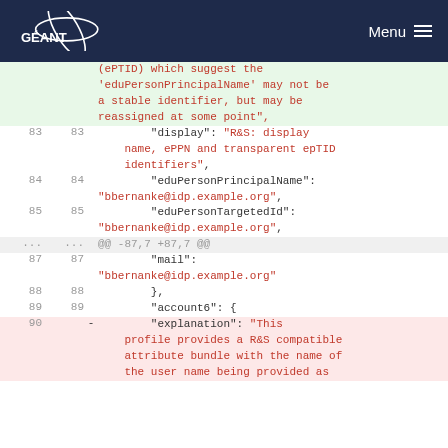GÉANT Menu
| line_old | line_new | sign | code |
| --- | --- | --- | --- |
|  |  |  | (ePTID) which suggest the 'eduPersonPrincipalName' may not be a stable identifier, but may be reassigned at some point", |
| 83 | 83 |  | "display": "R&S: display name, ePPN and transparent epTID identifiers", |
| 84 | 84 |  | "eduPersonPrincipalName": "bbernanke@idp.example.org", |
| 85 | 85 |  | "eduPersonTargetedId": "bbernanke@idp.example.org", |
| ... | ... |  | @@ -87,7 +87,7 @@ |
| 87 | 87 |  | "mail": "bbernanke@idp.example.org" |
| 88 | 88 |  | }, |
| 89 | 89 |  | "account6": { |
| 90 |  | - | "explanation": "This profile provides a R&S compatible attribute bundle with the name of the user name being provided as |